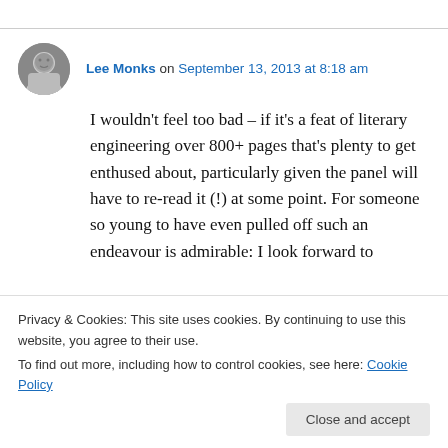Lee Monks on September 13, 2013 at 8:18 am
I wouldn't feel too bad – if it's a feat of literary engineering over 800+ pages that's plenty to get enthused about, particularly given the panel will have to re-read it (!) at some point. For someone so young to have even pulled off such an endeavour is admirable: I look forward to
Privacy & Cookies: This site uses cookies. By continuing to use this website, you agree to their use. To find out more, including how to control cookies, see here: Cookie Policy
as Harvest, no doubt about it. I think it sits